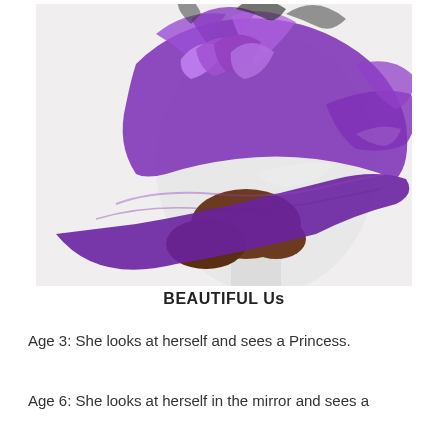[Figure (photo): A large ornate purple hat with ruffled organza fabric and feathers, displayed on a white mannequin head with a brown wig, photographed against a white background.]
BEAUTIFUL Us
Age 3: She looks at herself and sees a Princess.
Age 6: She looks at herself in the mirror and sees a